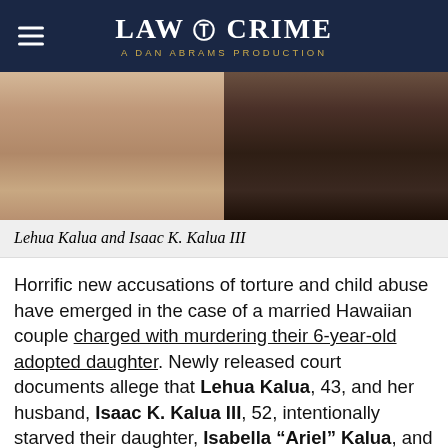LAW & CRIME — A DAN ABRAMS PRODUCTION
[Figure (photo): Cropped mugshot-style photo showing two people side by side: a lighter-skinned person on the left and a darker-skinned person in a black shirt on the right, both photographed from the shoulders/neck up.]
Lehua Kalua and Isaac K. Kalua III
Horrific new accusations of torture and child abuse have emerged in the case of a married Hawaiian couple charged with murdering their 6-year-old adopted daughter. Newly released court documents allege that Lehua Kalua, 43, and her husband, Isaac K. Kalua III, 52, intentionally starved their daughter, Isabella "Ariel" Kalua, and kept her locked up in a dog cage bound and